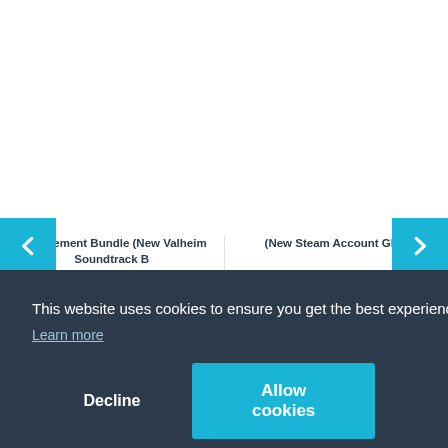Management Bundle (New Valheim Soundtrack B... Steam Account Global) (New Steam Account Glob...
-70% 65,00 € 19,99 €
-62% 21,00 € 7,99 €
This website uses cookies to ensure you get the best experience on our website.
Learn more
Decline
Allow cookies
[Figure (screenshot): Bottom strip showing partial game images]